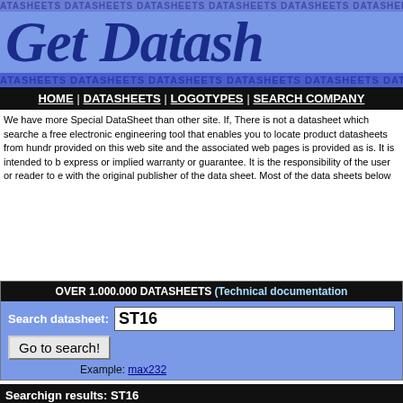DATASHEETS DATASHEETS DATASHEETS DATASHEETS DATASHEETS DATASHEETS DATASHEETS DATASHEETS
Get Datash
DATASHEETS DATASHEETS DATASHEETS DATASHEETS DATASHEETS DATASHEETS DATASHEETS DATASH
HOME | DATASHEETS | LOGOTYPES | SEARCH COMPANY
We have more Special DataSheet than other site. If, There is not a datasheet which searche a free electronic engineering tool that enables you to locate product datasheets from hundr provided on this web site and the associated web pages is provided as is. It is intended to b express or implied warranty or guarantee. It is the responsibility of the user or reader to e with the original publisher of the data sheet. Most of the data sheets below are in the "pdf" fo
OVER 1.000.000 DATASHEETS (Technical documentation
Search datasheet: ST16
Go to search!
Example: max232
Searchign results: ST16